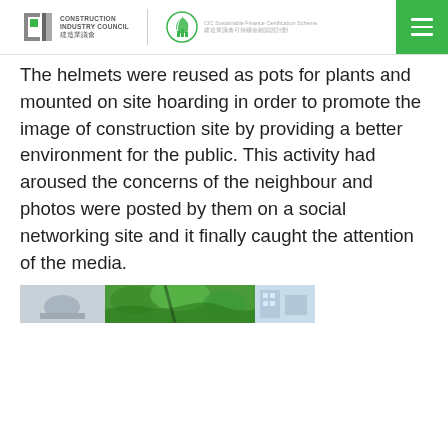Construction Industry Council | CIC Sustainable Finance Certification Scheme 建造業議會可持續金融認證計劃
The helmets were reused as pots for plants and mounted on site hoarding in order to promote the image of construction site by providing a better environment for the public. This activity had aroused the concerns of the neighbour and photos were posted by them on a social networking site and it finally caught the attention of the media.
[Figure (photo): A horizontal strip of photos showing helmets used as plant pots mounted on site hoarding, with greenery visible]